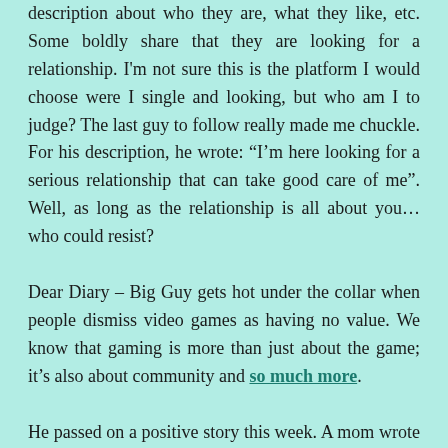description about who they are, what they like, etc. Some boldly share that they are looking for a relationship. I'm not sure this is the platform I would choose were I single and looking, but who am I to judge? The last guy to follow really made me chuckle. For his description, he wrote: “I’m here looking for a serious relationship that can take good care of me”. Well, as long as the relationship is all about you…who could resist?
Dear Diary – Big Guy gets hot under the collar when people dismiss video games as having no value. We know that gaming is more than just about the game; it’s also about community and so much more.
He passed on a positive story this week. A mom wrote that her 15 year old son has been hanging out with his friends a lot online during the